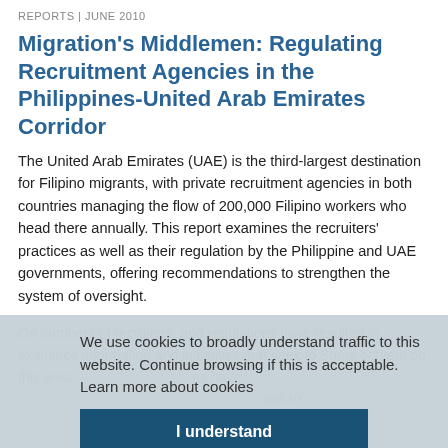REPORTS | JUNE 2010
Migration's Middlemen: Regulating Recruitment Agencies in the Philippines-United Arab Emirates Corridor
The United Arab Emirates (UAE) is the third-largest destination for Filipino migrants, with private recruitment agencies in both countries managing the flow of 200,000 Filipino workers who head there annually. This report examines the recruiters' practices as well as their regulation by the Philippine and UAE governments, offering recommendations to strengthen the system of oversight.
We use cookies to broadly understand traffic to this website. Continue browsing if this is acceptable.  Learn more about cookies
I understand
On numbers of recruiters, and regulations have resulted in examines information and initiatives that seek to Some content on this area. s.
The World is Talking about Climate Change and